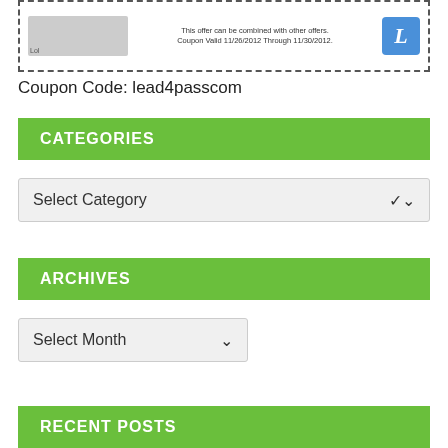[Figure (screenshot): Coupon image with dashed border, containing a gray bar on the left, centered text 'This offer can be combined with other offers. Coupon Valid 11/26/2012 Through 11/30/2012.', and a blue icon on the right]
Coupon Code: lead4passcom
CATEGORIES
Select Category
ARCHIVES
Select Month
RECENT POSTS